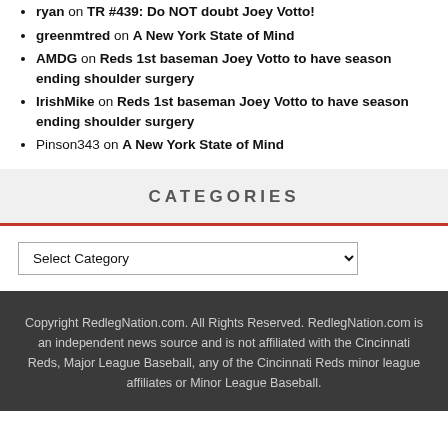ryan on TR #439: Do NOT doubt Joey Votto!
greenmtred on A New York State of Mind
AMDG on Reds 1st baseman Joey Votto to have season ending shoulder surgery
IrishMike on Reds 1st baseman Joey Votto to have season ending shoulder surgery
Pinson343 on A New York State of Mind
CATEGORIES
Select Category
Copyright RedlegNation.com. All Rights Reserved. RedlegNation.com is an independent news source and is not affiliated with the Cincinnati Reds, Major League Baseball, any of the Cincinnati Reds minor league affiliates or Minor League Baseball.